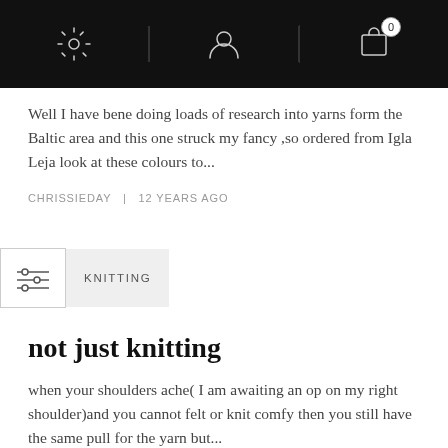[Settings icon] [User icon] [Cart icon with badge 0]
Well I have bene doing loads of research into yarns form the Baltic area and this one struck my fancy ,so ordered from Igla Leja look at these colours to...
CHRISSIEDAY   |   12 YEARS AGO
KNITTING
not just knitting
when your shoulders ache( I am awaiting an op on my right shoulder)and you cannot felt or knit comfy then you still have the same pull for the yarn but...
CHRISSIEDAY   |   13 YEARS AGO